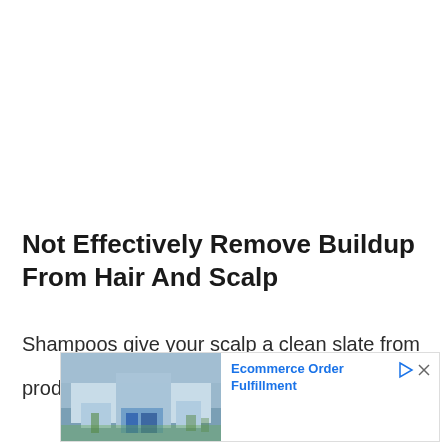Not Effectively Remove Buildup From Hair And Scalp
Shampoos give your scalp a clean slate from product residues, dirt, and oils every time you
[Figure (photo): Advertisement banner showing a commercial building (warehouse/fulfillment center) with text 'Ecommerce Order Fulfillment' and an Ad label at the bottom left.]